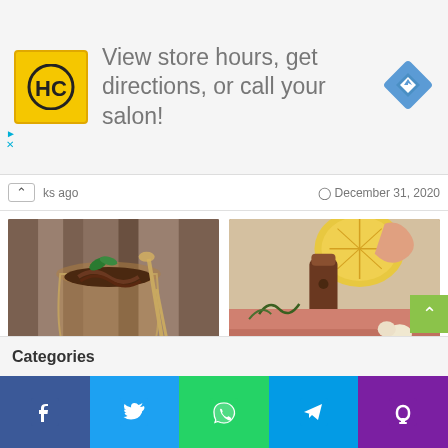[Figure (screenshot): Advertisement banner: HC logo (yellow square with black HC text), text 'View store hours, get directions, or call your salon!', blue diamond navigation icon]
ks ago
December 31, 2020
[Figure (photo): Chocolate mousse in a glass with mint leaves and a golden spoon on a wooden table]
Harlan Kilstein's Completely Keto Chocolate Mousse
December 23, 2020
[Figure (photo): Hands squeezing a lemon slice over meat with pepper mill, herbs and garlic visible]
Harlan Kilstein's Completely Keto Garlic Pork
December 22, 2020
Categories
[Figure (screenshot): Social share buttons: Facebook (blue), Twitter (light blue), WhatsApp (green), Telegram (sky blue), Phone (purple)]